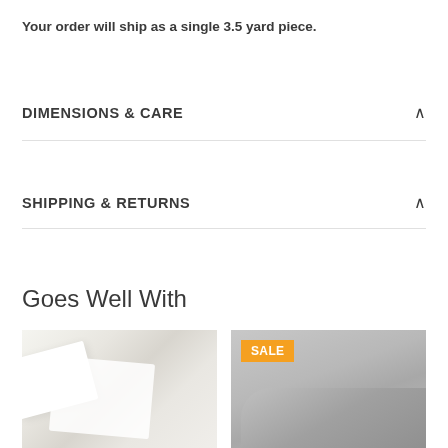Your order will ship as a single 3.5 yard piece.
DIMENSIONS & CARE
SHIPPING & RETURNS
Goes Well With
[Figure (photo): Close-up of folded white/cream fabric]
[Figure (photo): Close-up of folded gray fabric with orange SALE badge]